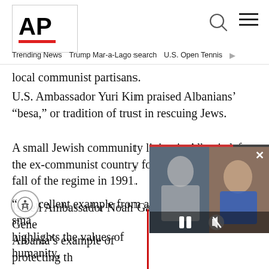AP
Trending News  Trump Mar-a-Lago search  U.S. Open Tennis
local communist partisans.
U.S. Ambassador Yuri Kim praised Albanians' “besa,” or tradition of trust in rescuing Jews.
A small Jewish community living in Albania left the ex-communist country for Israel just after the fall of the regime in 1991.
Israeli Ambassador Noah Gal Gene... Albania’s example of protecting th... during the war.
[Figure (screenshot): Video overlay showing two men, with pause and mute controls visible in the lower right corner of the screen]
“... cellent example from a sma... highlights the values of humanity,...